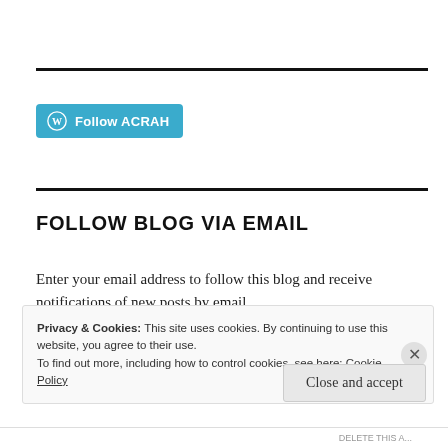[Figure (logo): Follow ACRAH button with WordPress icon in teal/blue color]
FOLLOW BLOG VIA EMAIL
Enter your email address to follow this blog and receive notifications of new posts by email.
Privacy & Cookies: This site uses cookies. By continuing to use this website, you agree to their use.
To find out more, including how to control cookies, see here: Cookie Policy
Close and accept